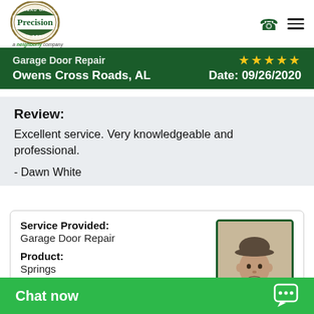[Figure (logo): Precision Overhead Garage Door Service logo, circular emblem with green and gold colors, 'a neighborly company' tagline below]
Precision Door Service — a neighborly company
Garage Door Repair  ★★★★★  Owens Cross Roads, AL  Date: 09/26/2020
Review:
Excellent service. Very knowledgeable and professional.
- Dawn White
Service Provided: Garage Door Repair
Product: Springs
Technician: Hunter Taylor
[Figure (photo): Photo of the technician, a young man wearing a baseball cap, in a gray shirt]
Chat now